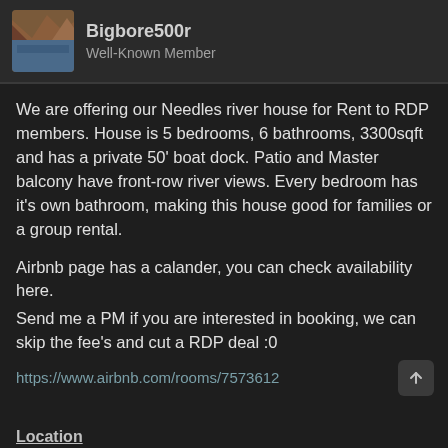Bigbore500r
Well-Known Member
We are offering our Needles river house for Rent to RDP members. House is 5 bedrooms, 6 bathrooms, 3300sqft and has a private 50' boat dock. Patio and Master balcony have front-row river views. Every bedroom has it's own bathroom, making this house good for families or a group rental.
Airbnb page has a calander, you can check availability here.
Send me a PM if you are interested in booking, we can skip the fee's and cut a RDP deal :0
https://www.airbnb.com/rooms/7573612
Location